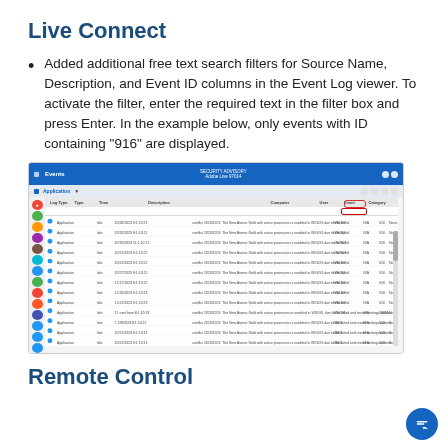Live Connect
Added additional free text search filters for Source Name, Description, and Event ID columns in the Event Log viewer. To activate the filter, enter the required text in the filter box and press Enter. In the example below, only events with ID containing “916” are displayed.
[Figure (screenshot): Screenshot of the Event Log viewer in Live Connect, showing a table of application events with columns for Log Type, Type, Time, Description, Computer, User, Event ID, and Category. A red oval highlights the Event ID filter box in the column header area, with the value 916 filtered.]
Remote Control